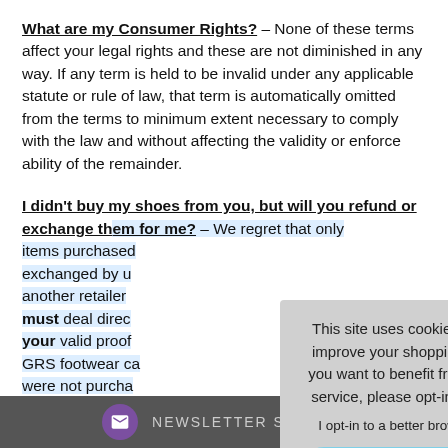What are my Consumer Rights? – None of these terms affect your legal rights and these are not diminished in any way. If any term is held to be invalid under any applicable statute or rule of law, that term is automatically omitted from the terms to minimum extent necessary to comply with the law and without affecting the validity or enforce ability of the remainder.
I didn't buy my shoes from you, but will you refund or exchange them for me? – We regret that only items purchased... exchanged by us... another retailer... must deal direct... your valid proof... GRS footwear ca... were not purcha...
This site uses cookies to provide and improve your shopping experience. If you want to benefit from this improved service, please opt-in. Cookies Page. I opt-in to a better browsing experience ACCEPT COOKIES
NEWSLETTER SIGN-UP